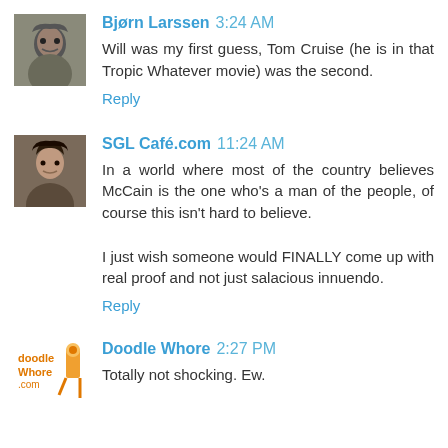[Figure (photo): Avatar photo of Bjørn Larssen]
Bjørn Larssen 3:24 AM
Will was my first guess, Tom Cruise (he is in that Tropic Whatever movie) was the second.
Reply
[Figure (photo): Avatar photo of SGL Café.com]
SGL Café.com 11:24 AM
In a world where most of the country believes McCain is the one who's a man of the people, of course this isn't hard to believe.

I just wish someone would FINALLY come up with real proof and not just salacious innuendo.
Reply
[Figure (logo): Avatar logo of Doodle Whore]
Doodle Whore 2:27 PM
Totally not shocking. Ew.